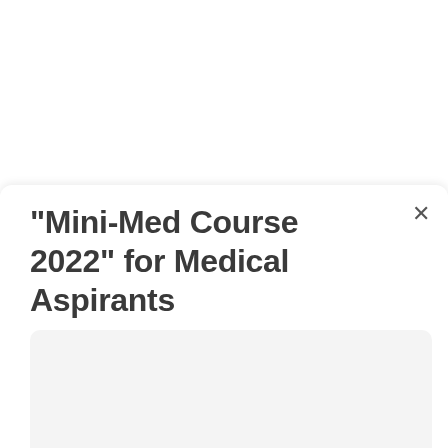“Mini-Med Course 2022” for Medical Aspirants